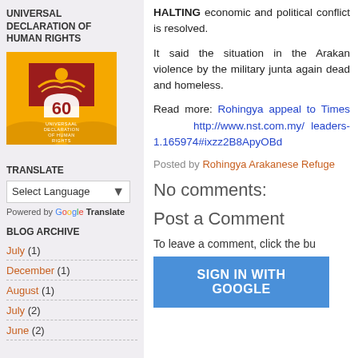UNIVERSAL DECLARATION OF HUMAN RIGHTS
[Figure (illustration): Logo for the 60th anniversary of the Universal Declaration of Human Rights — golden background with red rectangle, stylized dove, and '60' text with 'UNIVERSAAL DECLARATION OF HUMAN RIGHTS' written below.]
TRANSLATE
Select Language (dropdown) — Powered by Google Translate
BLOG ARCHIVE
July (1)
December (1)
August (1)
July (2)
June (2)
HALTING economic and political conflict is resolved.
It said the situation in the Arakan violence by the military junta again dead and homeless.
Read more: Rohingya appeal to Times http://www.nst.com.my/ leaders-1.165974#ixzz2B8ApyOBd
Posted by Rohingya Arakanese Refuge
No comments:
Post a Comment
To leave a comment, click the bu
SIGN IN WITH GOOGLE